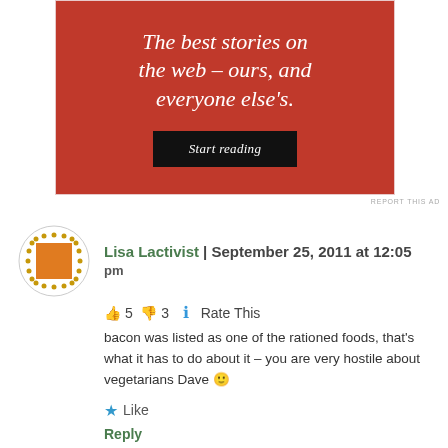[Figure (screenshot): Red advertisement banner with italic white text reading 'The best stories on the web – ours, and everyone else's.' and a dark 'Start reading' button]
REPORT THIS AD
Lisa Lactivist | September 25, 2011 at 12:05 pm
👍 5 👎 3 ℹ Rate This
bacon was listed as one of the rationed foods, that's what it has to do about it – you are very hostile about vegetarians Dave 🙂
★ Like
Reply